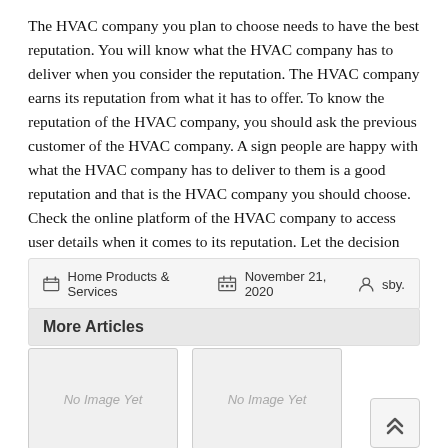The HVAC company you plan to choose needs to have the best reputation. You will know what the HVAC company has to deliver when you consider the reputation. The HVAC company earns its reputation from what it has to offer. To know the reputation of the HVAC company, you should ask the previous customer of the HVAC company. A sign people are happy with what the HVAC company has to deliver to them is a good reputation and that is the HVAC company you should choose. Check the online platform of the HVAC company to access user details when it comes to its reputation. Let the decision you make be based on what you find out when you consider the reputation.
Home Products & Services  November 21, 2020  sby.
More Articles
[Figure (other): Placeholder card showing 'No Image Yet']
[Figure (other): Placeholder card showing 'No Image Yet']